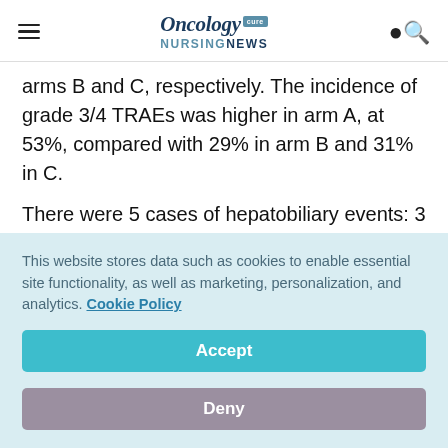Oncology Nursing News
arms B and C, respectively. The incidence of grade 3/4 TRAEs was higher in arm A, at 53%, compared with 29% in arm B and 31% in C.
There were 5 cases of hepatobiliary events: 3 in arm A, 1 in B, and 1 in C. Of these, 4 patients, 2 each in A and B, had to discontinue therapy.
This website stores data such as cookies to enable essential site functionality, as well as marketing, personalization, and analytics. Cookie Policy
Accept
Deny